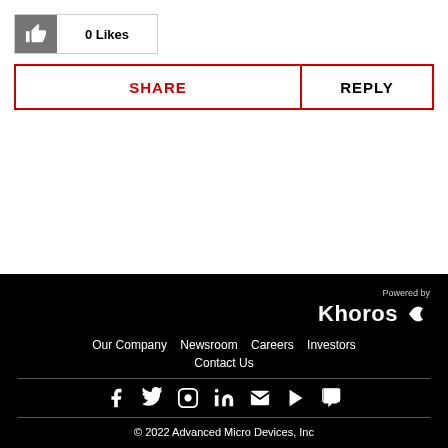[Figure (other): Thumbs up like button with 0 Likes count]
SHARE   REPLY
Powered by Khoros
Our Company  Newsroom  Careers  Investors
Contact Us
© 2022 Advanced Micro Devices, Inc